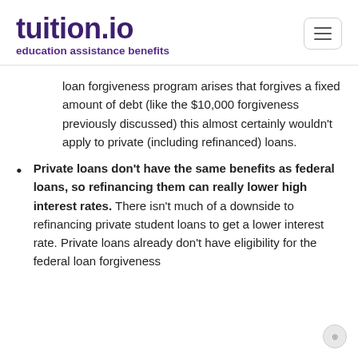tuition.io education assistance benefits
loan forgiveness program arises that forgives a fixed amount of debt (like the $10,000 forgiveness previously discussed) this almost certainly wouldn't apply to private (including refinanced) loans.
Private loans don't have the same benefits as federal loans, so refinancing them can really lower high interest rates. There isn't much of a downside to refinancing private student loans to get a lower interest rate. Private loans already don't have eligibility for the federal loan forgiveness